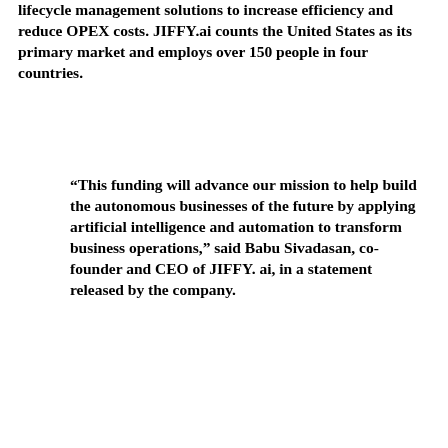lifecycle management solutions to increase efficiency and reduce OPEX costs. JIFFY.ai counts the United States as its primary market and employs over 150 people in four countries.
“This funding will advance our mission to help build the autonomous businesses of the future by applying artificial intelligence and automation to transform business operations,” said Babu Sivadasan, co-founder and CEO of JIFFY. ai, in a statement released by the company.